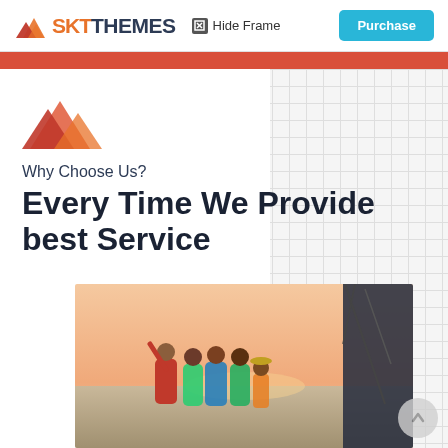SKT THEMES  Hide Frame  Purchase
[Figure (logo): SKT Themes logo with orange mountain icon and text]
Why Choose Us?
Every Time We Provide best Service
[Figure (photo): Family of five standing on a boat deck looking out at the sea at sunset, sailboat rigging visible on right]